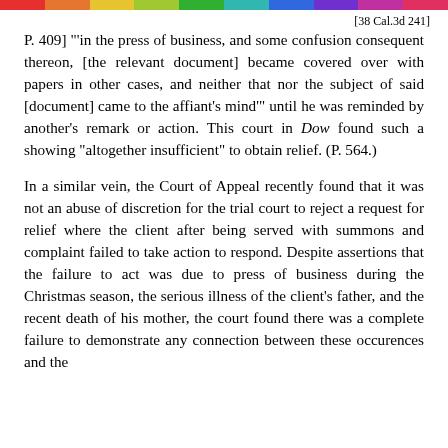[38 Cal.3d 241]
P. 409] "'in the press of business, and some confusion consequent thereon, [the relevant document] became covered over with papers in other cases, and neither that nor the subject of said [document] came to the affiant's mind'" until he was reminded by another's remark or action. This court in Dow found such a showing "altogether insufficient" to obtain relief. (P. 564.)
In a similar vein, the Court of Appeal recently found that it was not an abuse of discretion for the trial court to reject a request for relief where the client after being served with summons and complaint failed to take action to respond. Despite assertions that the failure to act was due to press of business during the Christmas season, the serious illness of the client's father, and the recent death of his mother, the court found there was a complete failure to demonstrate any connection between these occurences and the